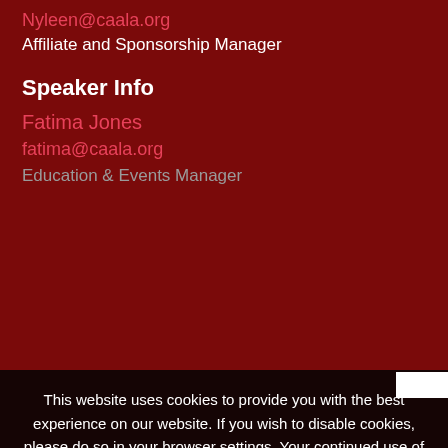Nyleen@caala.org
Affiliate and Sponsorship Manager
Speaker Info
Fatima Jones
fatima@caala.org
Education & Events Manager
This website uses cookies to provide you with the best experience on our website. If you wish to disable cookies, please do so in your browser settings. Your continued use of our site without disabling your cookies is subject to the cookie policy. Learn More
I agree